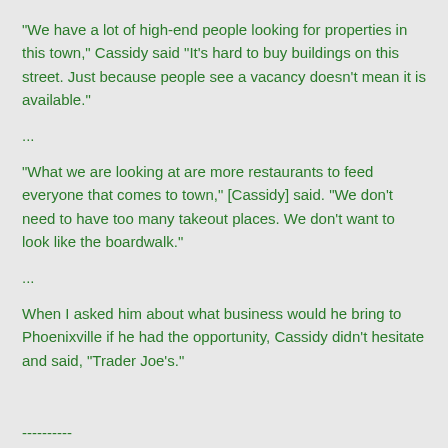"We have a lot of high-end people looking for properties in this town," Cassidy said "It's hard to buy buildings on this street. Just because people see a vacancy doesn't mean it is available."
...
"What we are looking at are more restaurants to feed everyone that comes to town," [Cassidy] said. "We don't need to have too many takeout places. We don't want to look like the boardwalk."
...
When I asked him about what business would he bring to Phoenixville if he had the opportunity, Cassidy didn't hesitate and said, "Trader Joe's."
----------
Nice to finally hear some updates on what is being planned for downtown. Still have a lot of concerns about parking (or lack there of) but that will sort itself out eventually I'd imagine. For now I will look at the positive and wish the new business owners